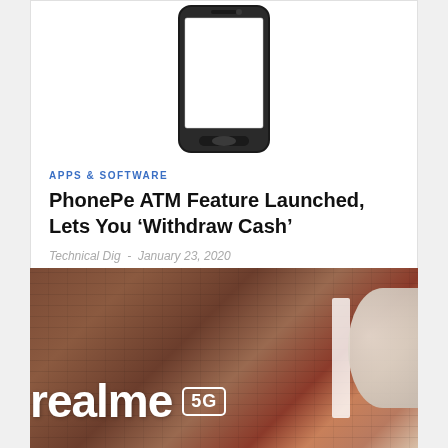[Figure (photo): Smartphone illustration with black outline on white background]
APPS & SOFTWARE
PhonePe ATM Feature Launched, Lets You ‘Withdraw Cash’
Technical Dig  -  January 23, 2020
[Figure (photo): Realme 5G branding on a brick wall background, with white panel and globe shape visible on the right side]